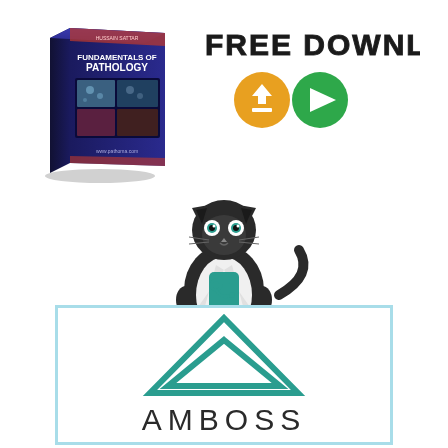[Figure (illustration): Book cover for 'Fundamentals of Pathology' shown as a 3D tilted book with dark cover]
FREE DOWNLOAD
[Figure (illustration): Two circular buttons: an orange download button with down arrow icon and a green play button with triangle icon]
[Figure (logo): OnlineMedEd logo: cartoon black cat wearing a doctor's white coat with stethoscope, above the text 'Online MedEd' in gray and teal]
[Figure (logo): AMBOSS logo: teal double triangle geometric shape above the word AMBOSS in dark letters, inside a light blue bordered rectangle]